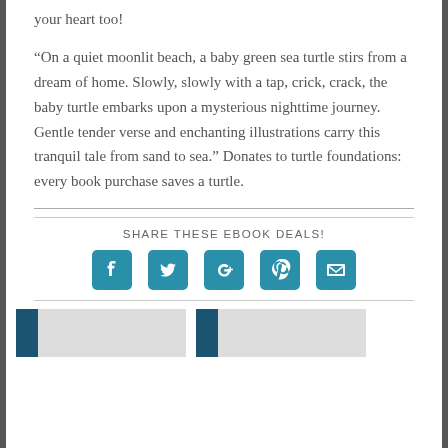your heart too!
“On a quiet moonlit beach, a baby green sea turtle stirs from a dream of home. Slowly, slowly with a tap, crick, crack, the baby turtle embarks upon a mysterious nighttime journey. Gentle tender verse and enchanting illustrations carry this tranquil tale from sand to sea.” Donates to turtle foundations: every book purchase saves a turtle.
SHARE THESE EBOOK DEALS!
[Figure (infographic): Row of five social media share icons: Facebook, Twitter, Google+, Pinterest, Email — all in teal/cyan square rounded buttons with white icons]
[Figure (photo): Two partial book thumbnail images at the bottom of the page, each with a dark teal spine on the left]